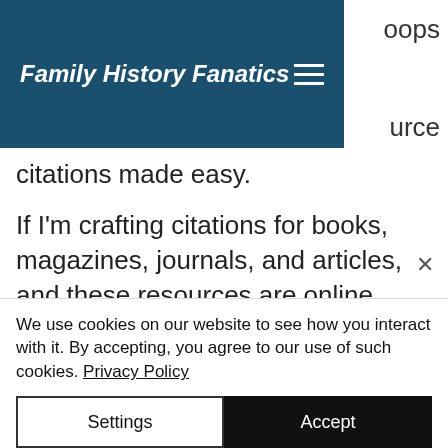Family History Fanatics
…oops …urce citations made easy.
If I'm crafting citations for books, magazines, journals, and articles, and these resources are online, then the freemium website Citation Machine has me covered. Most professional genealogists prefer the Chicago style of citations, which is an option on this …
We use cookies on our website to see how you interact with it. By accepting, you agree to our use of such cookies. Privacy Policy